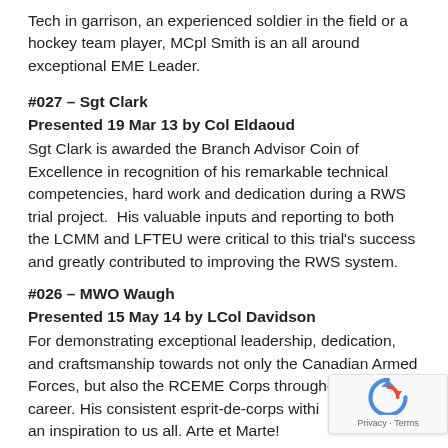Tech in garrison, an experienced soldier in the field or a hockey team player, MCpl Smith is an all around exceptional EME Leader.
#027 – Sgt Clark
Presented 19 Mar 13 by Col Eldaoud
Sgt Clark is awarded the Branch Advisor Coin of Excellence in recognition of his remarkable technical competencies, hard work and dedication during a RWS trial project.  His valuable inputs and reporting to both the LCMM and LFTEU were critical to this trial's success and greatly contributed to improving the RWS system.
#026 – MWO Waugh
Presented 15 May 14 by LCol Davidson
For demonstrating exceptional leadership, dedication, and craftsmanship towards not only the Canadian Armed Forces, but also the RCEME Corps throughout a storied career. His consistent esprit-de-corps within his trade is an inspiration to us all. Arte et Marte!